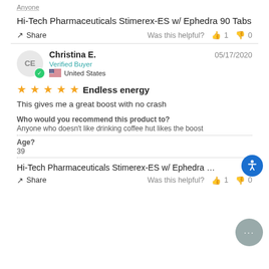Anyone
Hi-Tech Pharmaceuticals Stimerex-ES w/ Ephedra 90 Tabs
Share   Was this helpful?  👍 1  👎 0
Christina E.   05/17/2020
Verified Buyer
🇺🇸 United States
★★★★★ Endless energy
This gives me a great boost with no crash
Who would you recommend this product to?
Anyone who doesn't like drinking coffee hut likes the boost
Age?
39
Hi-Tech Pharmaceuticals Stimerex-ES w/ Ephedra 90 Tabs
Share   Was this helpful?  👍 1  👎 0